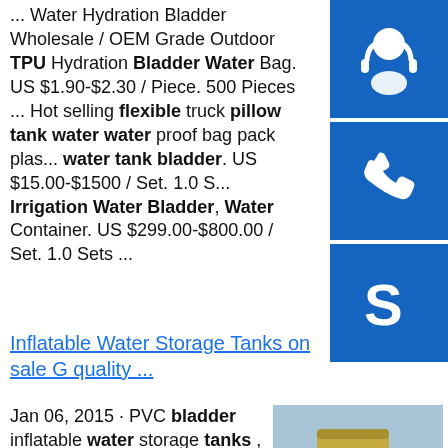... Water Hydration Bladder Wholesale / OEM Grade Outdoor TPU Hydration Bladder Water Bag. US $1.90-$2.30 / Piece. 500 Pieces ... Hot selling flexible truck pillow tank water water proof bag pack plastic water tank bladder. US $15.00-$1500 / Set. 1.0 Sets ... Irrigation Water Bladder, Water Container. US $299.00-$800.00 / Set. 1.0 Sets ...
[Figure (illustration): Blue square button with white headset/support icon]
[Figure (illustration): Blue square button with white phone icon]
[Figure (illustration): Blue square button with white Skype icon]
Inflatable Water Storage Tanks on sale G quality ...
Jan 06, 2015 · PVC bladder inflatable water storage tanks , high strength coated fabric 10500lt. Flexible PVC Water Tank/Pillow Tank/Onion Tank 1200gsm 1000d*1000d 20*20 For Water Saving (Capacity:10500lt) Quick Detail: 1. light weight, easy operation. 2.sp.info Rubber Water Bladder Factory, Rubber Water Bladder, Rubber Water Bladder...
[Figure (photo): Large industrial water storage tanks outdoors on a construction site, yellowish-brown color]